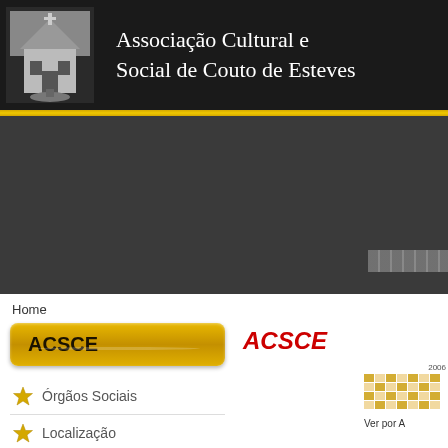[Figure (logo): Header with building logo and organization name: Associação Cultural e Social de Couto de Esteves]
Associação Cultural e Social de Couto de Esteves
[Figure (photo): Dark slideshow/banner area with navigation controls]
Home
ACSCE
ACSCE
Órgãos Sociais
Localização
História
Parcerias
[Figure (other): Small calendar widget showing 2006, with 'Ver por A' label]
Ver por A